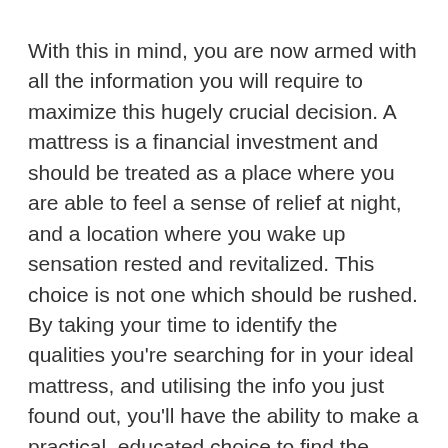With this in mind, you are now armed with all the information you will require to maximize this hugely crucial decision. A mattress is a financial investment and should be treated as a place where you are able to feel a sense of relief at night, and a location where you wake up sensation rested and revitalized. This choice is not one which should be rushed. By taking your time to identify the qualities you're searching for in your ideal mattress, and utilising the info you just found out, you'll have the ability to make a practical, educated choice to find the mattress of your dreams.